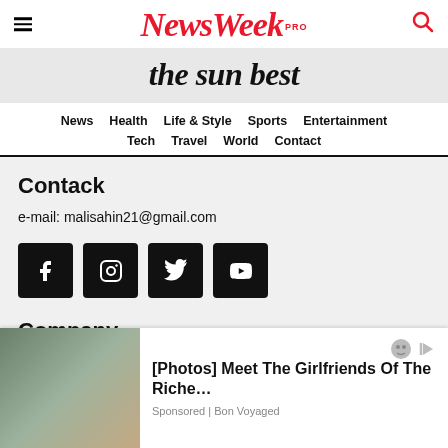NewsWeek PRO
the sun best
News  Health  Life & Style  Sports  Entertainment  Tech  Travel  World  Contact
Contack
e-mail: malisahin21@gmail.com
[Figure (other): Social media icons: Facebook, Instagram, Twitter, YouTube]
Company
News
Health
[Figure (other): Advertisement overlay: [Photos] Meet The Girlfriends Of The Riche... Sponsored | Bon Voyaged, with image of couple in sunglasses]